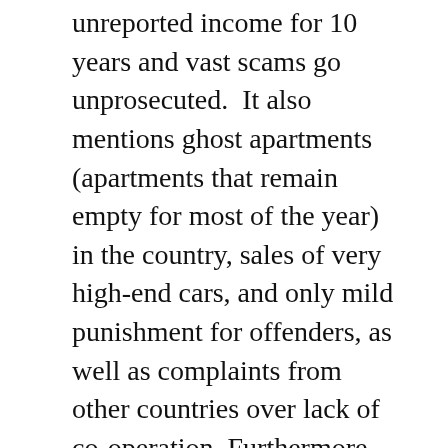unreported income for 10 years and vast scams go unprosecuted.  It also mentions ghost apartments (apartments that remain empty for most of the year) in the country, sales of very high-end cars, and only mild punishment for offenders, as well as complaints from other countries over lack of co-operation.  Furthermore, up to 25% of the economy is “off the books”.  Israel, it says, also appears to continue to turn a blind eye to Israel’s semi-underground investment scam industry, which defrauded victims all over the world out of billions, and also serves as a conduit for criminals to move their money around the world under the guise of online trading.  A critic is quoted as saying that there are certain